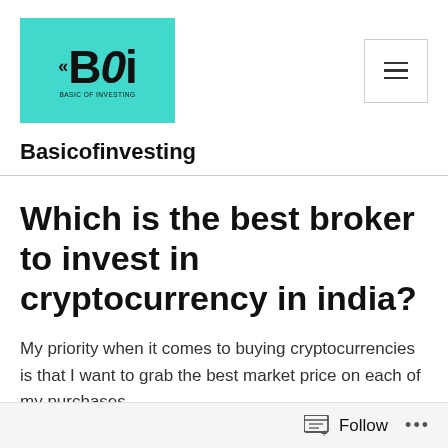[Figure (logo): Basicofinvesting logo: teal/cyan background box with BOi text in bold and wave symbol, small tagline below]
Basicofinvesting
Which is the best broker to invest in cryptocurrency in india?
My priority when it comes to buying cryptocurrencies is that I want to grab the best market price on each of my purchases.
Follow